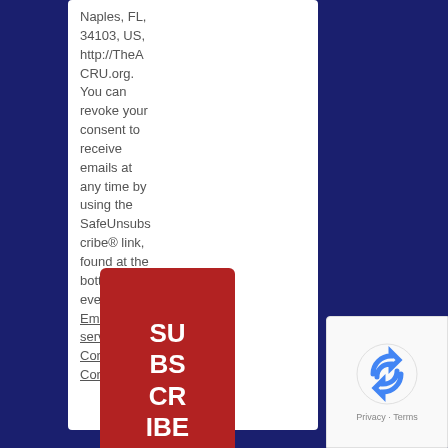Naples, FL, 34103, US, http://TheACRU.org. You can revoke your consent to receive emails at any time by using the SafeUnsubscribe® link, found at the bottom of every email. Emails are serviced by Constant Contact.
[Figure (other): Red subscribe button with white text reading SUBSCRIBE]
[Figure (other): reCAPTCHA badge with Privacy and Terms links]